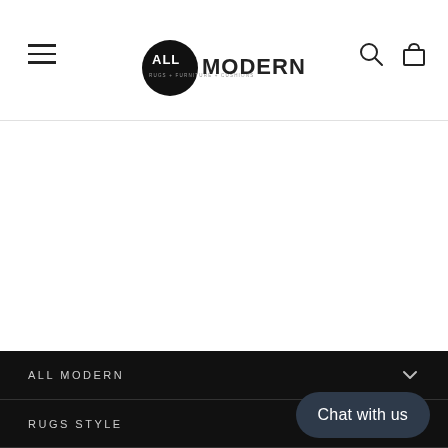AllModern — Rugs + Furniture + Cushions
ALL MODERN
RUGS STYLE
Chat with us